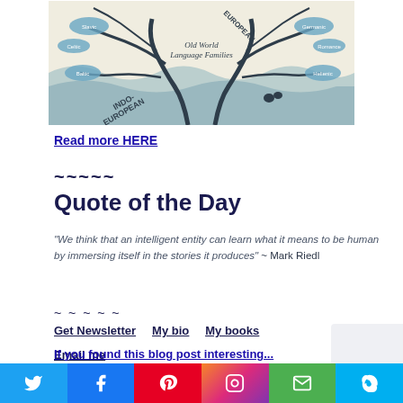[Figure (illustration): Old World Language Families tree map illustration with Indo-European and European branches shown as decorative tree with teal/blue color scheme]
Read more HERE
~~~~~
Quote of the Day
“We think that an intelligent entity can learn what it means to be human by immersing itself in the stories it produces” ~ Mark Riedl
~~~~~
Get Newsletter   My bio   My books
Email me